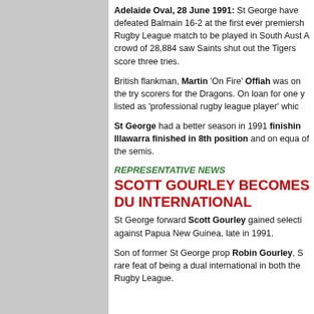Adelaide Oval, 28 June 1991: St George have defeated Balmain 16-2 at the first ever premiership Rugby League match to be played in South Aust... A crowd of 28,884 saw Saints shut out the Tigers... score three tries.
British flankman, Martin 'On Fire' Offiah was one of the try scorers for the Dragons. On loan for one y... listed as 'professional rugby league player' which...
St George had a better season in 1991 finishing... Illawarra finished in 8th position and on equal... of the semis.
REPRESENTATIVE NEWS
SCOTT GOURLEY BECOMES DU... INTERNATIONAL
St George forward Scott Gourley gained selecti... against Papua New Guinea, late in 1991.
Son of former St George prop Robin Gourley, S... rare feat of being a dual international in both the... Rugby League.